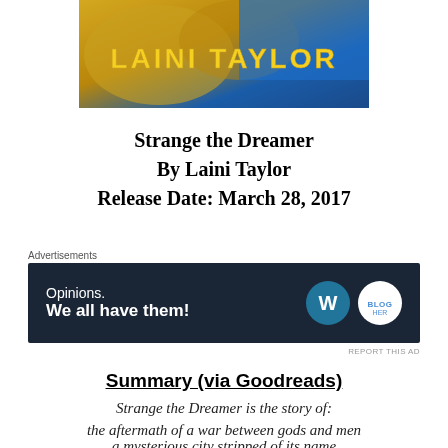[Figure (photo): Top portion of a book cover for 'Strange the Dreamer' by Laini Taylor, showing gold and blue illustrated artwork with the author's name in large gold letters on a blue background]
Strange the Dreamer
By Laini Taylor
Release Date: March 28, 2017
Advertisements
[Figure (screenshot): Advertisement banner with dark navy background reading 'Opinions. We all have them!' with WordPress and Blog Her logos]
REPORT THIS AD
Summary (via Goodreads)
Strange the Dreamer is the story of:
the aftermath of a war between gods and men
a mysterious city stripped of its name